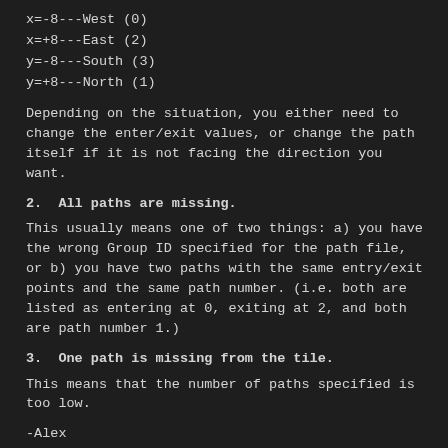x=-8---West (0)
x=+8---East (2)
y=-8---South (3)
y=+8---North (1)
Depending on the situation, you either need to change the enter/exit values, or change the path itself if it is not facing the direction you want.
2.  All paths are missing.
This usually means one of two things: a) you have the wrong Group ID specified for the path file, or b) you have two paths with the same entry/exit points and the same path number. (i.e. both are listed as entering at 0, exiting at 2, and both are path number 1.)
3.  One path is missing from the tile.
This means that the number of paths specified is too low.
-Alex